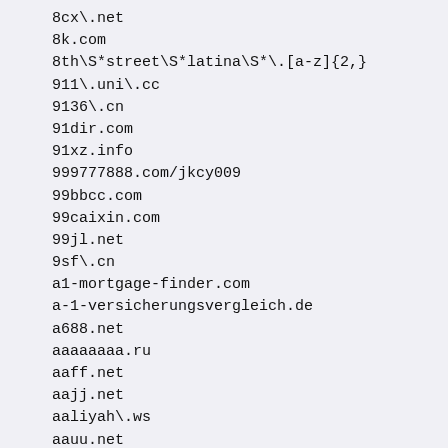8cx\.net
8k.com
8th\S*street\S*latina\S*\.[a-z]{2,}
911\.uni\.cc
9136\.cn
91dir.com
91xz.info
999777888.com/jkcy009
99bbcc.com
99caixin.com
99jl.net
9sf\.cn
a1-mortgage-finder.com
a-1-versicherungsvergleich.de
a688.net
aaaaaaaa.ru
aaff.net
aajj.net
aaliyah\.ws
aauu.net